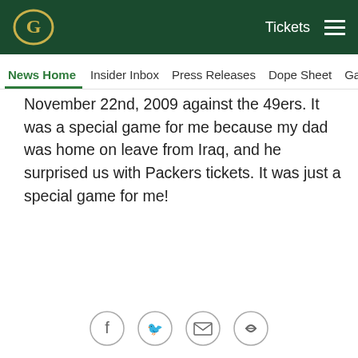Green Bay Packers — Tickets [navigation header]
News Home | Insider Inbox | Press Releases | Dope Sheet | Game...
November 22nd, 2009 against the 49ers. It was a special game for me because my dad was home on leave from Iraq, and he surprised us with Packers tickets. It was just a special game for me!
[Figure (logo): Packers Pro Shop hometown advertisement banner with two men in green and gold attire]
Brittany -- Berlin, Wisconsin
[Figure (photo): Football field scene photo, partially cropped]
Social sharing icons: Facebook, Twitter, Email, Link